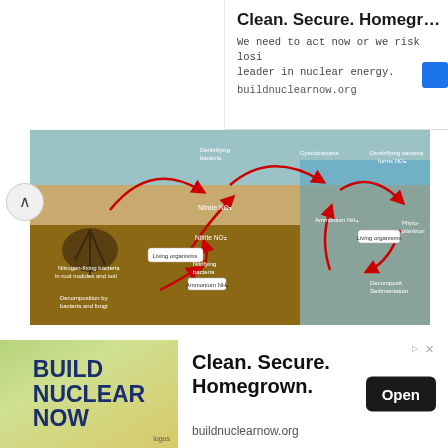[Figure (infographic): Top advertisement banner: Clean. Secure. Homegrown. with text about nuclear energy and buildnuclearnow.org]
[Figure (schematic): The nitrogen cycle diagram showing nitrogen-fixing bacteria in root nodules and soil, decomposition by bacteria and fungi, nitrification bacteria, denitrifying bacteria, Nitrate NO3, Nitrite NO2, Ammonium NH4, living organisms, cyanobacteria, phytoplankton, decomposition and sedimentation, with red arrows showing flow between components across terrestrial and aquatic environments.]
FIGURE 23.15. The nitrogen cycle. Atmospheric nitrogen can be converted to ammonium by nitrogen-fixing bacteria, which then convert the ammonium to nitrate, the main form of nitrogen
[Figure (infographic): Bottom advertisement: BUILD NUCLEAR NOW. Clean. Secure. Homegrown. Open button. buildnuclearnow.org]